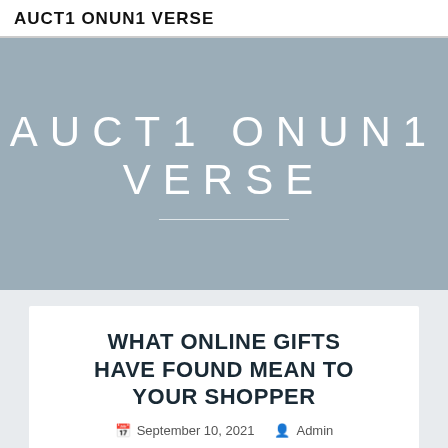AUCT1ONUN1VERSE
[Figure (other): Hero banner with text AUCT1 ONUN1 VERSE on a steel blue background with a white underline]
WHAT ONLINE GIFTS HAVE FOUND MEAN TO YOUR SHOPPER
September 10, 2021  Admin